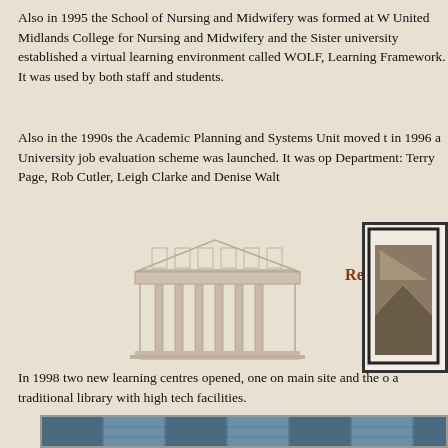Also in 1995 the School of Nursing and Midwifery was formed at W United Midlands College for Nursing and Midwifery and the Sister university established a virtual learning environment called WOLF, Learning Framework. It was used by both staff and students.
Also in the 1990s the Academic Planning and Systems Unit moved in 1996 a University job evaluation scheme was launched. It was op Department: Terry Page, Rob Cutler, Leigh Clarke and Denise Walt
[Figure (illustration): Sketch illustration of a classical university building with columns]
Read about people in the news in the 1990s
[Figure (logo): University logo mark in a box, dark geometric shape on light background]
In 1998 two new learning centres opened, one on main site and the o a traditional library with high tech facilities.
[Figure (photo): Photograph of a modern university building exterior with blue glass windows and brick facade]